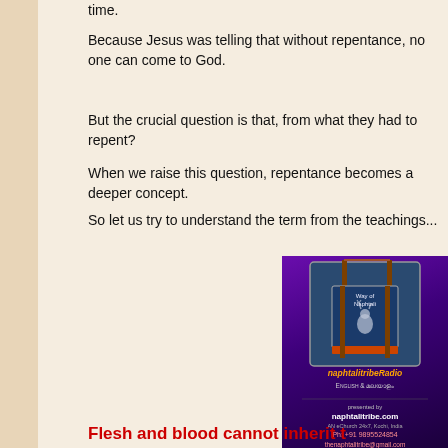time.
Because Jesus was telling that without repentance, no one can come to God.
But the crucial question is that, from what they had to repent?
When we raise this question, repentance becomes a deeper concept.
So let us try to understand the term from the teachings...
[Figure (advertisement): NaphtalitribeRadio advertisement banner with purple background, showing a banner/flag logo with a deer, text reading naphtalitribeRadio English & Malayalam, presented by naphtalitribe.com, AN eChurch 24x7, Kochi, India, Ph: +91 9895524854, thenaphtalitribe@gmail.com]
Flesh and blood cannot inherit t